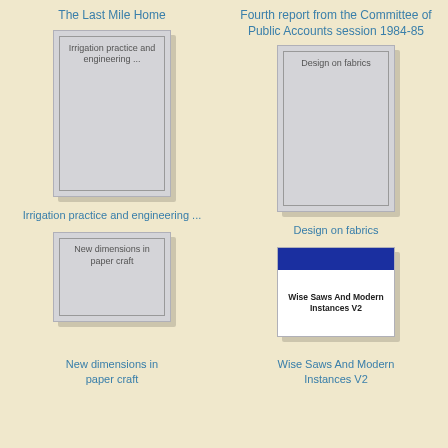The Last Mile Home
Fourth report from the Committee of Public Accounts session 1984-85
[Figure (illustration): Book cover placeholder for Irrigation practice and engineering ...]
[Figure (illustration): Book cover placeholder for Design on fabrics]
Irrigation practice and engineering ...
Design on fabrics
[Figure (illustration): Book cover placeholder for New dimensions in paper craft]
[Figure (illustration): Book cover for Wise Saws And Modern Instances V2 with dark blue top bar]
New dimensions in paper craft
Wise Saws And Modern Instances V2